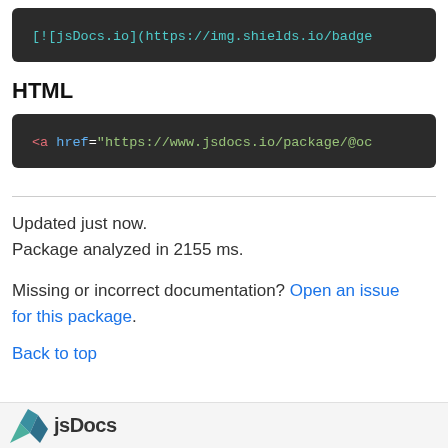[Figure (screenshot): Dark code block showing markdown badge syntax: [![jsDocs.io](https://img.shields.io/badge...]
HTML
[Figure (screenshot): Dark code block showing HTML anchor tag: <a href="https://www.jsdocs.io/package/@oc...]
Updated just now.
Package analyzed in 2155 ms.
Missing or incorrect documentation? Open an issue for this package.
Back to top
jsDocs.io logo footer